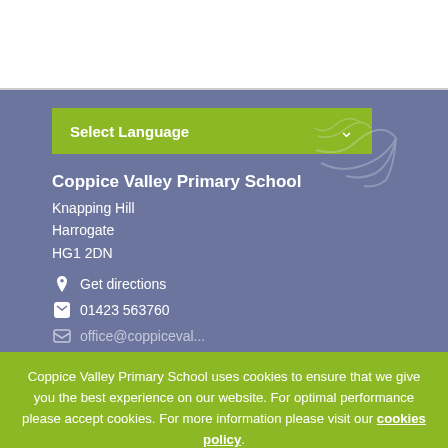[Figure (other): White header bar at top of page]
[Figure (other): Select Language dropdown button in green/lime color]
Coppice Valley Primary School
Knapping Hill
Harrogate
HG1 2DN
Get directions
01423 563760
Coppice Valley Primary School uses cookies to ensure that we give you the best experience on our website. For optimal performance please accept cookies. For more information please visit our cookies policy.
Accept and close